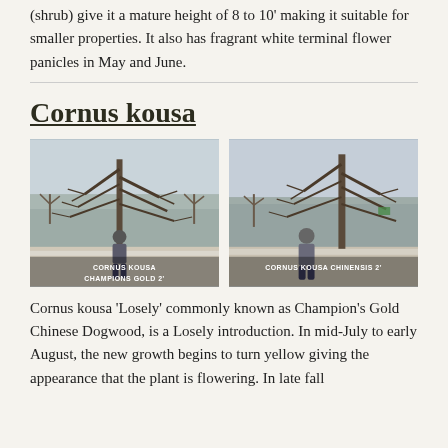(shrub) give it a mature height of 8 to 10' making it suitable for smaller properties. It also has fragrant white terminal flower panicles in May and June.
Cornus kousa
[Figure (photo): Two side-by-side outdoor winter photos of bare deciduous trees in a nursery with snow on the ground. Left photo labeled CORNUS KOUSA CHAMPIONS GOLD 2. Right photo labeled CORNUS KOUSA CHINENSIS 2. A person stands in front of each tree for scale.]
Cornus kousa ‘Losely’ commonly known as Champion’s Gold Chinese Dogwood,  is a Losely introduction. In mid-July to early August, the new growth begins to turn yellow giving the appearance that the plant is flowering. In late fall